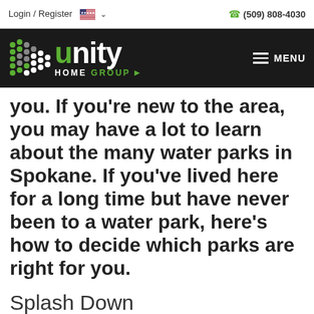Login / Register   (509) 808-4030
[Figure (logo): Unity Home Group logo with green and grey dot pattern on black background, with hamburger menu icon and MENU text]
you. If you're new to the area, you may have a lot to learn about the many water parks in Spokane. If you've lived here for a long time but have never been to a water park, here's how to decide which parks are right for you.
Splash Down